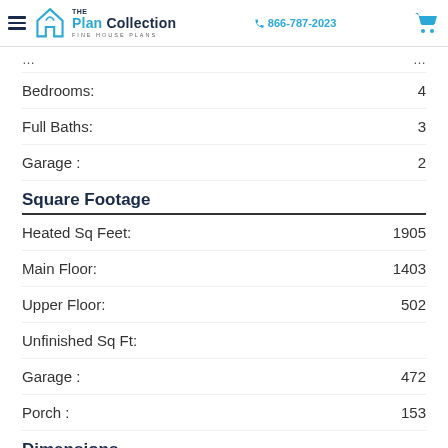The Plan Collection | Fine House Plans | 866-787-2023
Bedrooms: 4
Full Baths: 3
Garage: 2
Square Footage
Heated Sq Feet: 1905
Main Floor: 1403
Upper Floor: 502
Unfinished Sq Ft:
Garage: 472
Porch: 153
Dimensions
Width: